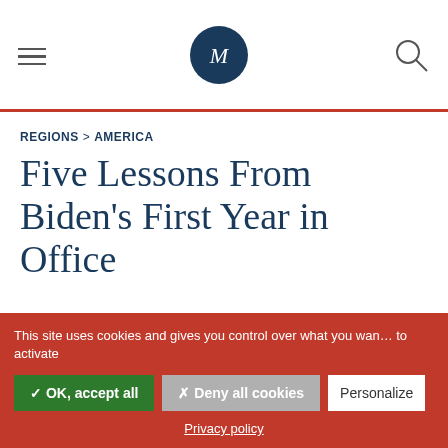M (logo) — navigation header with hamburger menu and search icon
REGIONS > AMERICA
Five Lessons From Biden's First Year in Office
This site uses cookies and gives you control over what you want to activate
✓ OK, accept all | ✗ Deny all cookies | Personalize
Privacy policy